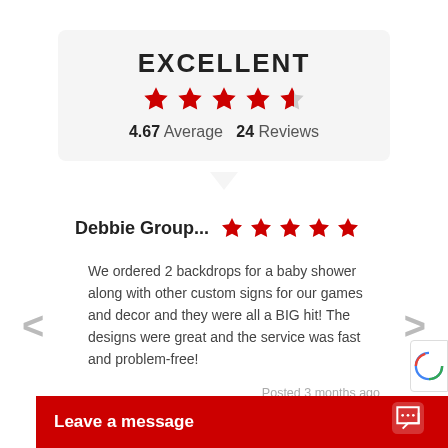EXCELLENT
4.67 Average  24 Reviews
Debbie Group...
We ordered 2 backdrops for a baby shower along with other custom signs for our games and decor and they were all a BIG hit! The designs were great and the service was fast and problem-free!
Posted 3 months ago
REVIEWS.io
Leave a message